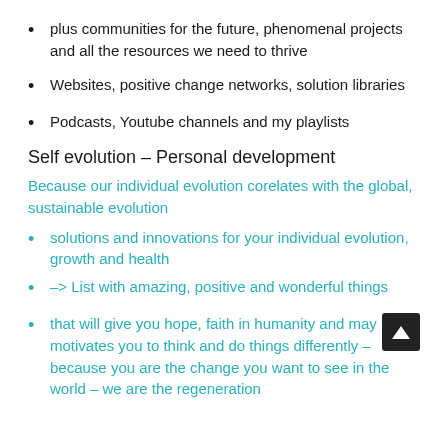plus communities for the future, phenomenal projects and all the resources we need to thrive
Websites, positive change networks, solution libraries
Podcasts, Youtube channels and my playlists
Self evolution – Personal development
Because our individual evolution corelates with the global, sustainable evolution
solutions and innovations for your individual evolution, growth and health
–> List with amazing, positive and wonderful things
that will give you hope, faith in humanity and may motivates you to think and do things differently – because you are the change you want to see in the world – we are the regeneration